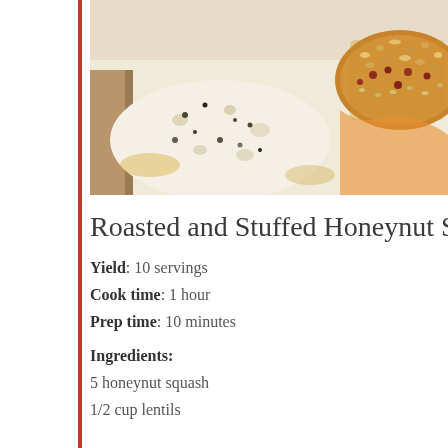[Figure (photo): Overhead photo of roasted honeynut squash halves on a baking pan, one coated with white/salt topping and one with a nut and dried fruit crumble topping, with orange squash flesh and cooking juices visible]
Roasted and Stuffed Honeynut Squas
Yield: 10 servings
Cook time: 1 hour
Prep time: 10 minutes
Ingredients:
5 honeynut squash
1/2 cup lentils